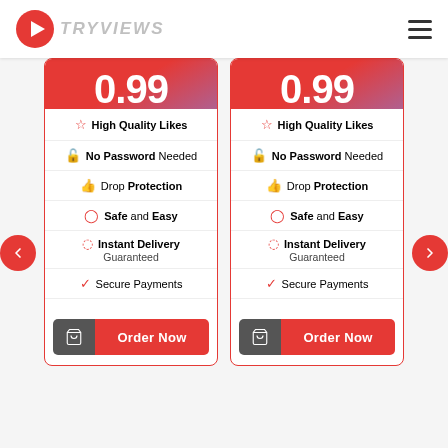TRYVIEWS
[Figure (infographic): Pricing card left: High Quality Likes, No Password Needed, Drop Protection, Safe and Easy, Instant Delivery Guaranteed, Secure Payments, Order Now button]
[Figure (infographic): Pricing card right: High Quality Likes, No Password Needed, Drop Protection, Safe and Easy, Instant Delivery Guaranteed, Secure Payments, Order Now button]